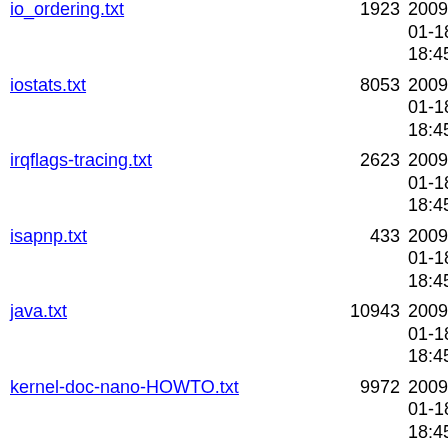io_ordering.txt  1923  2009-01-18 18:45:37
iostats.txt  8053  2009-01-18 18:45:37
irqflags-tracing.txt  2623  2009-01-18 18:45:37
isapnp.txt  433  2009-01-18 18:45:37
java.txt  10943  2009-01-18 18:45:37
kernel-doc-nano-HOWTO.txt  9972  2009-01-18 18:45:37
kernel-docs.txt  35613  2009-01-18 18:45:37
kernel-parameters.txt  76653  2009-01-18 18:45:37
keys-request-key.txt  7590  2009-01-18 18:45:37
keys.txt  47306  2009-01-18 18:45:37
kobject.txt  17267  2009-01-18 18:45:37
kprobes.txt  21144  2009-01-18 18:45:37